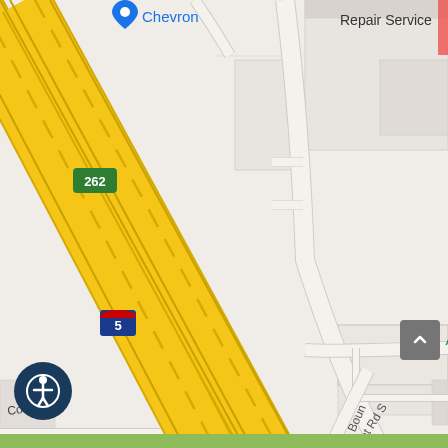[Figure (map): Google Maps screenshot showing Aim & Game location near Interstate 5 in the area of Barret Rd S and La Boun road. Features Chevron gas station, repair service, Interstate 5 shield markers, road 262, County Dr, and an Instant Change business. Yellow diagonal highway/interstate corridor runs from upper-left to lower-center. Green location pin marks Aim & Game establishment. Accessibility icon and scroll-to-top button visible as UI overlays.]